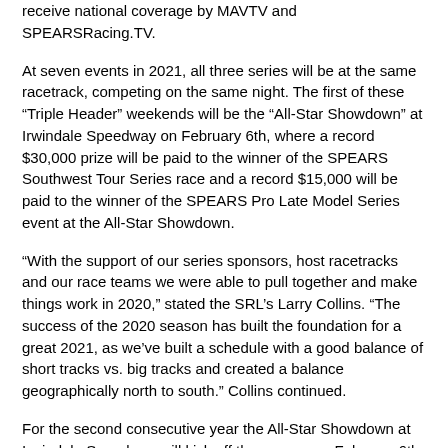receive national coverage by MAVTV and SPEARSRacing.TV.
At seven events in 2021, all three series will be at the same racetrack, competing on the same night. The first of these “Triple Header” weekends will be the “All-Star Showdown” at Irwindale Speedway on February 6th, where a record $30,000 prize will be paid to the winner of the SPEARS Southwest Tour Series race and a record $15,000 will be paid to the winner of the SPEARS Pro Late Model Series event at the All-Star Showdown.
“With the support of our series sponsors, host racetracks and our race teams we were able to pull together and make things work in 2020,” stated the SRL’s Larry Collins. “The success of the 2020 season has built the foundation for a great 2021, as we’ve built a schedule with a good balance of short tracks vs. big tracks and created a balance geographically north to south.” Collins continued.
For the second consecutive year the All-Star Showdown at Irwindale Speedway will kick off the season on February 6th with all three SPEARS (SRL) series.
From that point, the Modifieds will visit Havasu Speedway on February 20th, and the Pro Late Models will venture alone to Stockton 99 on March 13th for the $5,000 to win Asparagus Cup